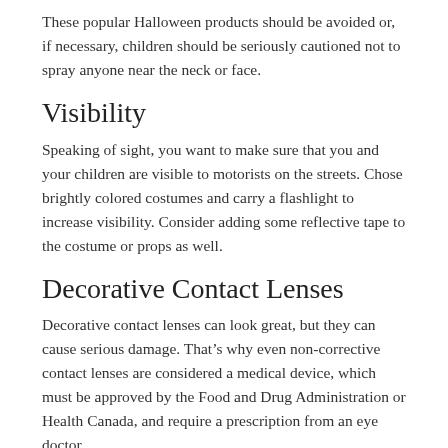These popular Halloween products should be avoided or, if necessary, children should be seriously cautioned not to spray anyone near the neck or face.
Visibility
Speaking of sight, you want to make sure that you and your children are visible to motorists on the streets. Chose brightly colored costumes and carry a flashlight to increase visibility. Consider adding some reflective tape to the costume or props as well.
Decorative Contact Lenses
Decorative contact lenses can look great, but they can cause serious damage. That’s why even non-corrective contact lenses are considered a medical device, which must be approved by the Food and Drug Administration or Health Canada, and require a prescription from an eye doctor.
Never buy fashion, decorative, cosmetic, colored or theater contact lenses (or any other name that they go by) from a beauty or costume supply store or any unauthorized vendor. You should purchase them only with a prescription from an eye doctor after an eye exam to